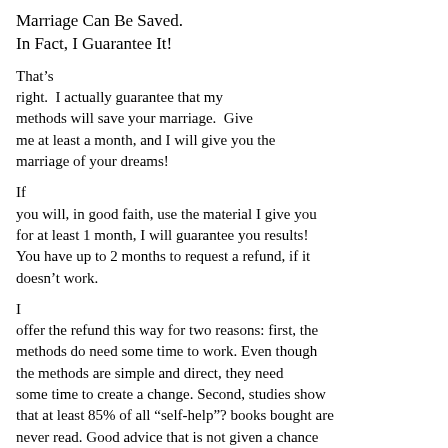Marriage Can Be Saved.
In Fact, I Guarantee It!
That’s right.  I actually guarantee that my methods will save your marriage.  Give me at least a month, and I will give you the marriage of your dreams!
If you will, in good faith, use the material I give you for at least 1 month, I will guarantee you results! You have up to 2 months to request a refund, if it doesn’t work.
I offer the refund this way for two reasons: first, the methods do need some time to work. Even though the methods are simple and direct, they need some time to create a change. Second, studies show that at least 85% of all “self-help”? books bought are never read. Good advice that is not given a chance is of little help.  So, I have designed my book for people who are ready to take action, not just have a book on the nightstand!